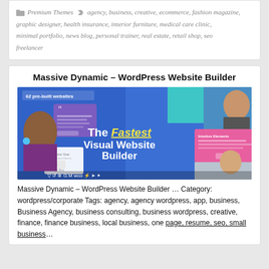Premium Themes  agency, business, creative, ecommerce, fashion magazine, graphic designer, health insurance, interior furniture, medical care clinic, minimal portfolio, news blog, personal trainer, real estate, retail shop, seo freelancer
Massive Dynamic – WordPress Website Builder
[Figure (screenshot): Screenshot of Massive Dynamic WordPress Website Builder promotional banner showing '62 pre-built websites', 'The Fastest Visual Website Builder' text, various UI elements, person photos, and plugin icons]
Massive Dynamic – WordPress Website Builder … Category: wordpress/corporate Tags: agency, agency wordpress, app, business, Business Agency, business consulting, business wordpress, creative, finance, finance business, local business, one page, resume, seo, small business...